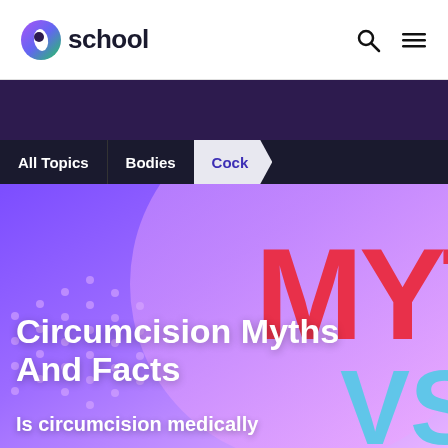school
[Figure (screenshot): Navigation breadcrumb bar with All Topics, Bodies, Cock]
[Figure (illustration): Hero banner with purple-pink gradient background, dots pattern, large red MYTHS text and blue VS text]
Circumcision Myths And Facts
Is circumcision medically